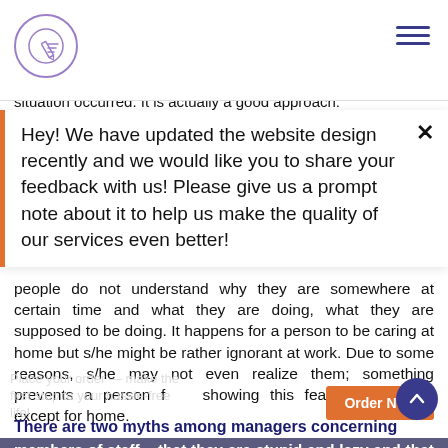[logo: pencil icon in circle] [hamburger menu]
situation occurred. It is actually a good approach.
Hey! We have updated the website design recently and we would like you to share your feedback with us! Please give us a prompt note about it to help us make the quality of our services even better!
people do not understand why they are somewhere at certain time and what they are doing, what they are supposed to be doing. It happens for a person to be caring at home but s/he might be rather ignorant at work. Due to some reasons, s/he may not even realize them; something prevents a person from showing this feature elsewhere except for home.
There are two myths among managers concerning members of staff – that they are stupid and lazy and that they will learn everything on their own.
Those are incompatible points of view and still somehow, they scrape along together in their heads. A member of staff may show bad results because of different
Place your order — make the first step to your hassle-free life!
Order Now